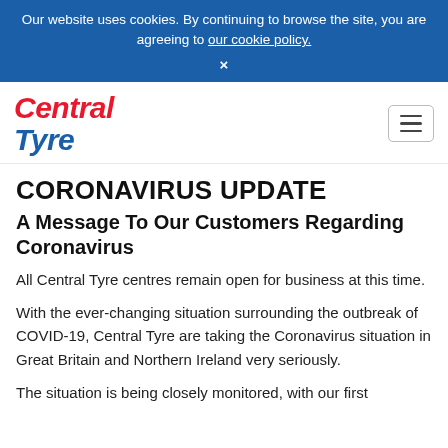Our website uses cookies. By continuing to browse the site, you are agreeing to our cookie policy. ×
[Figure (logo): Central Tyre logo in red and blue italic bold text]
CORONAVIRUS UPDATE
A Message To Our Customers Regarding Coronavirus
All Central Tyre centres remain open for business at this time.
With the ever-changing situation surrounding the outbreak of COVID-19, Central Tyre are taking the Coronavirus situation in Great Britain and Northern Ireland very seriously.
The situation is being closely monitored, with our first